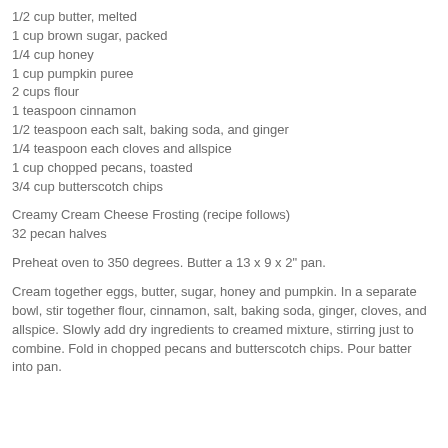1/2 cup butter, melted
1 cup brown sugar, packed
1/4 cup honey
1 cup pumpkin puree
2 cups flour
1 teaspoon cinnamon
1/2 teaspoon each salt, baking soda, and ginger
1/4 teaspoon each cloves and allspice
1 cup chopped pecans, toasted
3/4 cup butterscotch chips
Creamy Cream Cheese Frosting (recipe follows)
32 pecan halves
Preheat oven to 350 degrees. Butter a 13 x 9 x 2" pan.
Cream together eggs, butter, sugar, honey and pumpkin. In a separate bowl, stir together flour, cinnamon, salt, baking soda, ginger, cloves, and allspice. Slowly add dry ingredients to creamed mixture, stirring just to combine. Fold in chopped pecans and butterscotch chips. Pour batter into pan.